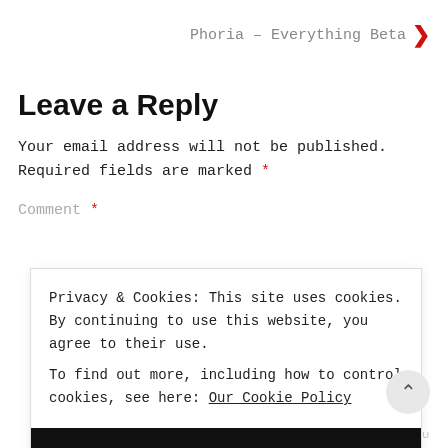Phoria – Everything Beta
Leave a Reply
Your email address will not be published. Required fields are marked *
Comment *
Privacy & Cookies: This site uses cookies. By continuing to use this website, you agree to their use. To find out more, including how to control cookies, see here: Our Cookie Policy
CLOSE AND ACCEPT